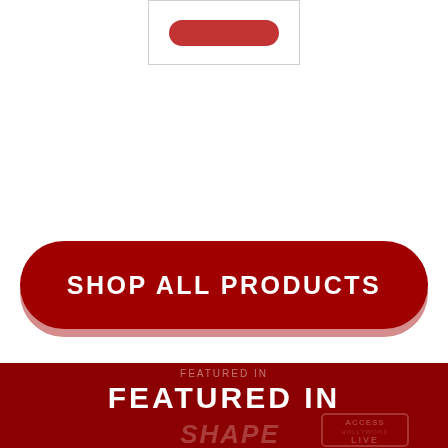[Figure (screenshot): White box with a red rounded button partially visible at top]
[Figure (screenshot): Large dark red rounded pill-shaped button with text SHOP ALL PRODUCTS in white capital letters]
FEATURED IN
[Figure (logo): SHAPE magazine logo in muted pinkish-red text on dark red background]
[Figure (logo): Access Hollywood Live badge logo in muted pinkish-red on dark red background]